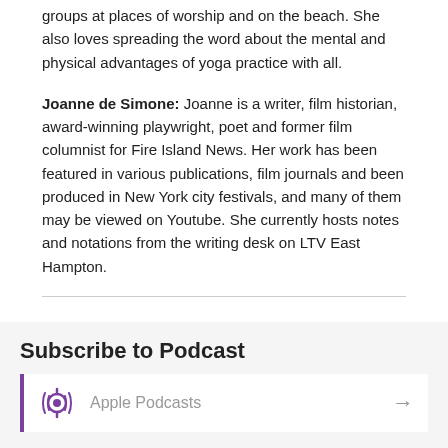groups at places of worship and on the beach. She also loves spreading the word about the mental and physical advantages of yoga practice with all.
Joanne de Simone: Joanne is a writer, film historian, award-winning playwright, poet and former film columnist for Fire Island News. Her work has been featured in various publications, film journals and been produced in New York city festivals, and many of them may be viewed on Youtube. She currently hosts notes and notations from the writing desk on LTV East Hampton.
Subscribe to Podcast
Apple Podcasts